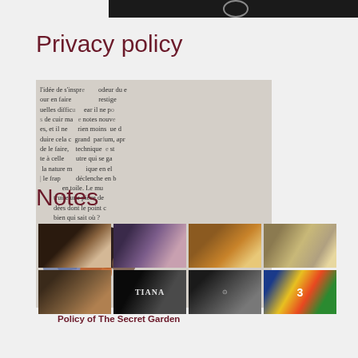[Figure (photo): Dark banner/header image with a circular logo element]
Privacy policy
[Figure (photo): Book page with French text about perfume, overlaid with glass marbles/spheres in various colors]
Policy of The Secret Garden
Notes
[Figure (photo): Grid of 8 thumbnail images related to perfume/fragrance products and events]